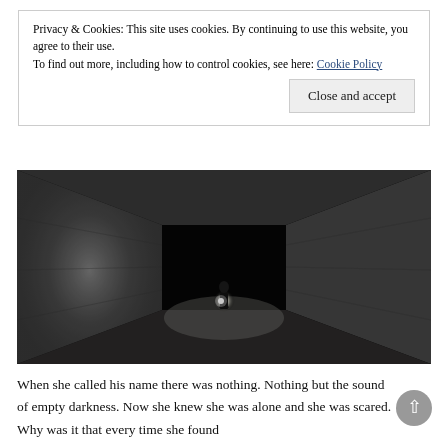Privacy & Cookies: This site uses cookies. By continuing to use this website, you agree to their use.
To find out more, including how to control cookies, see here: Cookie Policy
[Close and accept]
[Figure (photo): Black and white photograph of a dark concrete tunnel with a single figure standing in the middle distance, holding a light source that illuminates the floor around them. The tunnel recedes into blackness.]
When she called his name there was nothing. Nothing but the sound of empty darkness. Now she knew she was alone and she was scared. Why was it that every time she found